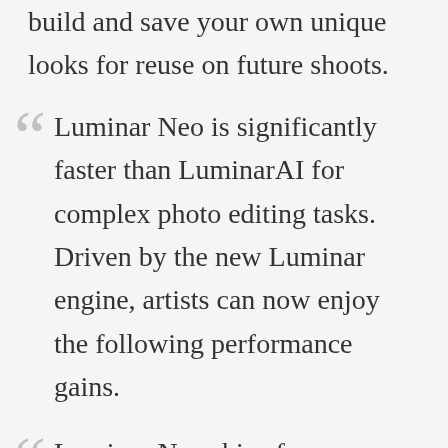build and save your own unique looks for reuse on future shoots.
Luminar Neo is significantly faster than LuminarAI for complex photo editing tasks. Driven by the new Luminar engine, artists can now enjoy the following performance gains.
Luminar Neo ships from February 17th, 2022 with RelightAI, Presets, Layers, and other powerful new tools